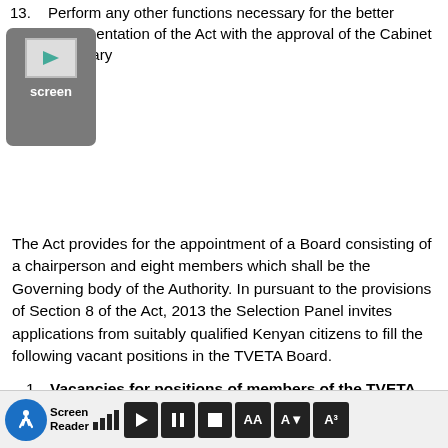13. Perform any other functions necessary for the better implementation of the Act with the approval of the Cabinet Secretary
[Figure (screenshot): Screen Reader application icon placeholder image — grey rounded rectangle with image icon and 'screen' label]
The Act provides for the appointment of a Board consisting of a chairperson and eight members which shall be the Governing body of the Authority. In pursuant to the provisions of Section 8 of the Act, 2013 the Selection Panel invites applications from suitably qualified Kenyan citizens to fill the following vacant positions in the TVETA Board.
1. Vacancies for positions of members of the TVETA Board
For appointment as member of the TVETA Board, a person shall: –
1. Possess at least a Bachelor's degree from a university
[Figure (screenshot): Screen Reader toolbar at the bottom of the screen with accessibility controls: blue walking person icon, 'Screen Reader' label, signal bars, play button, pause button, stop button, and three font size buttons (AA)]